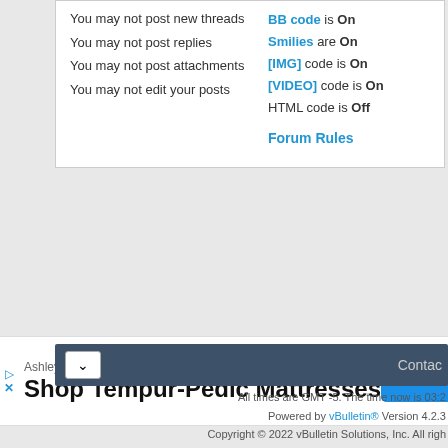You may not post new threads
You may not post replies
You may not post attachments
You may not edit your posts
BB code is On
Smilies are On
[IMG] code is On
[VIDEO] code is On
HTML code is Off
Forum Rules
[Figure (screenshot): Advertisement banner for Ashley's Tempur-Pedic Mattresses with an OPEN button]
Contact
All times are GMT -5. The time now is 03:2
Powered by vBulletin® Version 4.2.3
Copyright © 2022 vBulletin Solutions, Inc. All righ